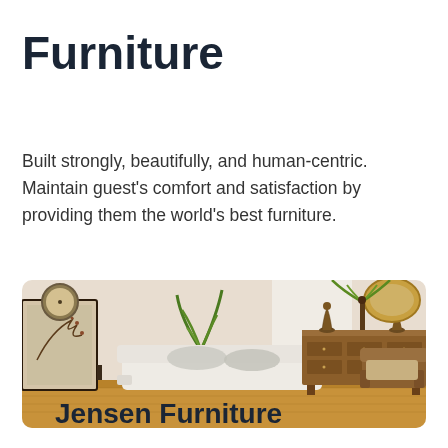Furniture
Built strongly, beautifully, and human-centric. Maintain guest’s comfort and satisfaction by providing them the world’s best furniture.
[Figure (photo): A classic, elegantly furnished living room with a white sofa with cushions, decorative plant, wooden sideboard with bronze sculptures, ornate mirror, and Asian-style room divider screen on a hardwood floor.]
Jensen Furniture